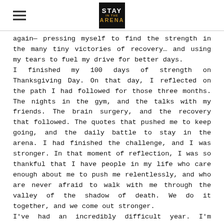STAY IN THE ARENA (logo)
again— pressing myself to find the strength in the many tiny victories of recovery… and using my tears to fuel my drive for better days.
I finished my 100 days of strength on Thanksgiving Day. On that day, I reflected on the path I had followed for those three months. The nights in the gym, and the talks with my friends. The brain surgery, and the recovery that followed. The quotes that pushed me to keep going, and the daily battle to stay in the arena. I had finished the challenge, and I was stronger. In that moment of reflection, I was so thankful that I have people in my life who care enough about me to push me relentlessly, and who are never afraid to walk with me through the valley of the shadow of death. We do it together, and we come out stronger.
I've had an incredibly difficult year. I'm recovering again from surgery, and it's been a difficult few weeks. But, today at lunch time, I was looking through the photos on my phone, and I stumbled upon the video montage of the 100 Instagram posts,